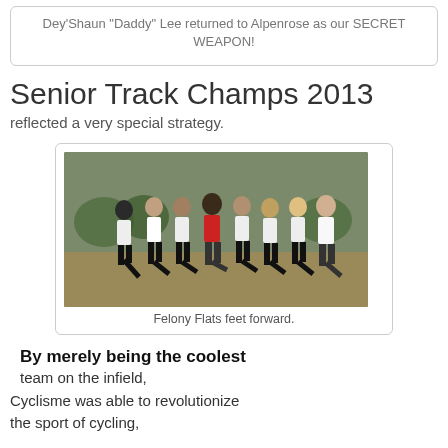Dey'Shaun "Daddy" Lee returned to Alpenrose as our SECRET WEAPON!
Senior Track Champs 2013
reflected a very special strategy.
[Figure (photo): Group of cyclists in black and white team jerseys posing outdoors on a field, one person in a red shirt in the center, all kicking one leg forward.]
Felony Flats feet forward.
By merely being the coolest team on the infield, Cyclisme was able to revolutionize the sport of cycling,